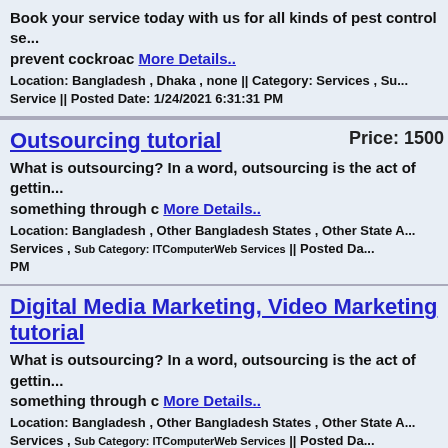Book your service today with us for all kinds of pest control se... prevent cockroac More Details.. Location: Bangladesh , Dhaka , none || Category: Services , Su... Service || Posted Date: 1/24/2021 6:31:31 PM
Outsourcing tutorial Price: 1500 What is outsourcing? In a word, outsourcing is the act of gettin... something through c More Details.. Location: Bangladesh , Other Bangladesh States , Other State A... Services , Sub Category: ITComputerWeb Services || Posted Da... PM
Digital Media Marketing, Video Marketing tutorial What is outsourcing? In a word, outsourcing is the act of gettin... something through c More Details.. Location: Bangladesh , Other Bangladesh States , Other State A... Services , Sub Category: ITComputerWeb Services || Posted Da... PM
Affiliate Marketing, Social Media Marketing tutorial What is outsourcing? In a word, outsourcing is the act of gettin... something through c More Details.. Location: Bangladesh , Other Bangladesh States , Other State...